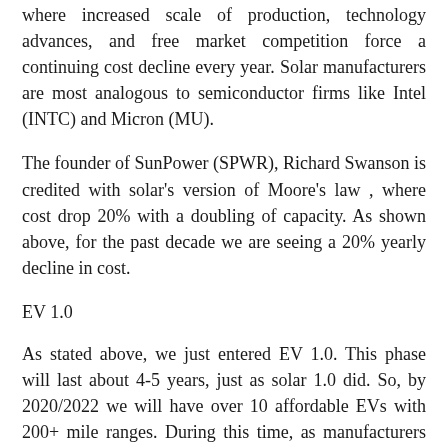where increased scale of production, technology advances, and free market competition force a continuing cost decline every year. Solar manufacturers are most analogous to semiconductor firms like Intel (INTC) and Micron (MU).
The founder of SunPower (SPWR), Richard Swanson is credited with solar's version of Moore's law , where cost drop 20% with a doubling of capacity. As shown above, for the past decade we are seeing a 20% yearly decline in cost.
EV 1.0
As stated above, we just entered EV 1.0. This phase will last about 4-5 years, just as solar 1.0 did. So, by 2020/2022 we will have over 10 affordable EVs with 200+ mile ranges. During this time, as manufacturers develop Li-ion giga factories, the cost of these autos will drop below that of internal combustion vehicles. How is this possible?